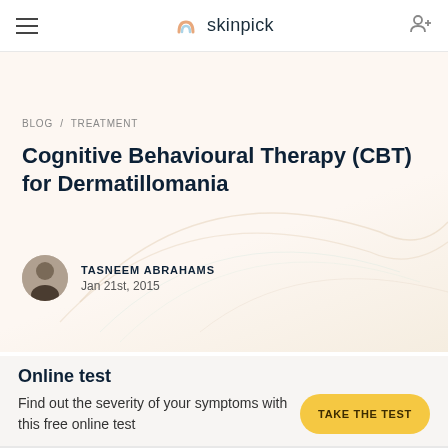skinpick
BLOG / TREATMENT
Cognitive Behavioural Therapy (CBT) for Dermatillomania
TASNEEM ABRAHAMS
Jan 21st, 2015
Online test
Find out the severity of your symptoms with this free online test
TAKE THE TEST